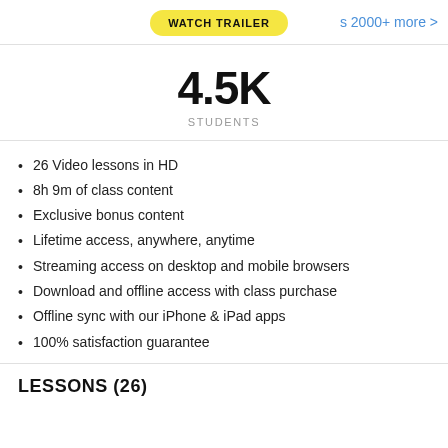WATCH TRAILER
s 2000+ more >
4.5K
STUDENTS
26 Video lessons in HD
8h 9m of class content
Exclusive bonus content
Lifetime access, anywhere, anytime
Streaming access on desktop and mobile browsers
Download and offline access with class purchase
Offline sync with our iPhone & iPad apps
100% satisfaction guarantee
LESSONS (26)